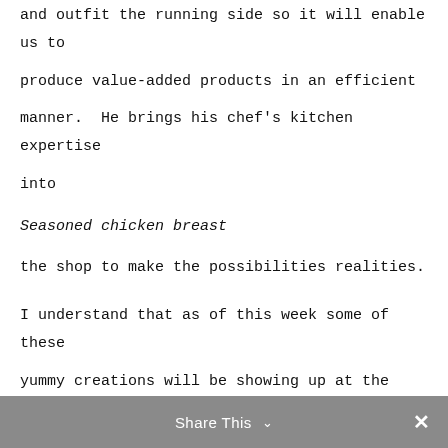and outfit the running side so it will enable us to produce value-added products in an efficient manner.  He brings his chef's kitchen expertise into

Seasoned chicken breast

the shop to make the possibilities realities.

I understand that as of this week some of these yummy creations will be showing up at the main Oleson's Food Store in Traverse City, courtesy of Cherry Capital Foods.  Check it out!
Share This ∨  ✕